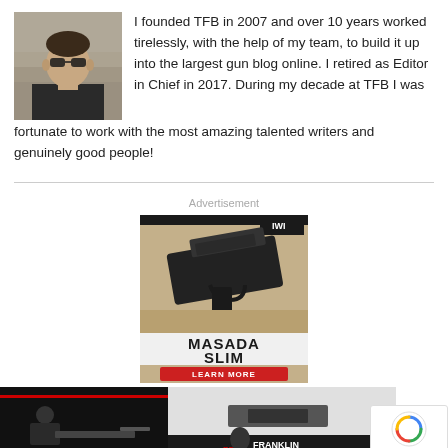[Figure (photo): Profile photo of a person wearing sunglasses outdoors, against a rocky/sandy background]
I founded TFB in 2007 and over 10 years worked tirelessly, with the help of my team, to build it up into the largest gun blog online. I retired as Editor in Chief in 2017. During my decade at TFB I was fortunate to work with the most amazing talented writers and genuinely good people!
[Figure (photo): IWI Masada Slim pistol advertisement — gun on sandy surface with IWI logo, text MASADA SLIM and red LEARN MORE button]
[Figure (photo): Franklin Armory advertisement — person shooting rifle on left, Franklin Armory logo/text on right with BFS (Binary Firing System) logo in center]
[Figure (other): reCAPTCHA privacy badge — spinning arrows logo with Privacy and Terms text]